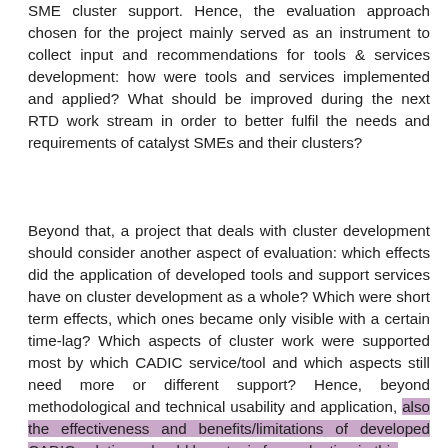SME cluster support. Hence, the evaluation approach chosen for the project mainly served as an instrument to collect input and recommendations for tools & services development: how were tools and services implemented and applied? What should be improved during the next RTD work stream in order to better fulfil the needs and requirements of catalyst SMEs and their clusters?
Beyond that, a project that deals with cluster development should consider another aspect of evaluation: which effects did the application of developed tools and support services have on cluster development as a whole? Which were short term effects, which ones became only visible with a certain time-lag? Which aspects of cluster work were supported most by which CADIC service/tool and which aspects still need more or different support? Hence, beyond methodological and technical usability and application, also the effectiveness and benefits/limitations of developed CADIC solutions should be a topic for evaluation in this